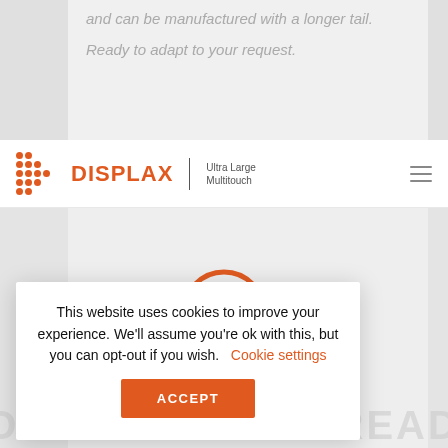and can be manufactured with a longer tail.
Ready to adapt to your request.
[Figure (logo): Displax Ultra Large Multitouch logo with orange dot-grid icon and hamburger menu icon]
[Figure (illustration): Orange checkmark circle icon on a light grey background section]
This website uses cookies to improve your experience. We'll assume you're ok with this, but you can opt-out if you wish.   Cookie settings
ACCEPT
TOUCH MODULE READY